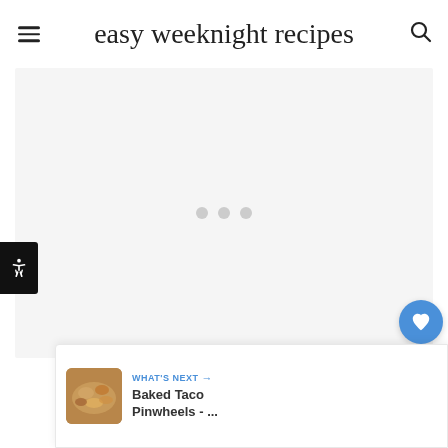easy weeknight recipes
[Figure (screenshot): Advertisement placeholder area with three gray loading dots centered on a light gray background]
[Figure (infographic): Accessibility button (black square with person/accessibility icon) on left edge of page]
[Figure (infographic): Sidebar social action buttons: blue heart/favorite button, count badge showing 231, blue share button]
[Figure (infographic): What's Next bar at bottom right showing thumbnail of Baked Taco Pinwheels with text 'WHAT'S NEXT → Baked Taco Pinwheels - ...']